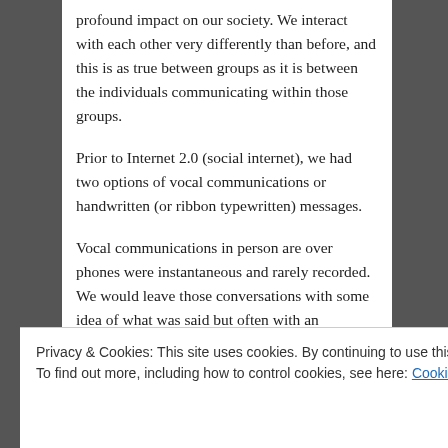profound impact on our society. We interact with each other very differently than before, and this is as true between groups as it is between the individuals communicating within those groups.
Prior to Internet 2.0 (social internet), we had two options of vocal communications or handwritten (or ribbon typewritten) messages.
Vocal communications in person are over phones were instantaneous and rarely recorded. We would leave those conversations with some idea of what was said but often with an incomplete memory of each and every word or sentence.
In contrast, written messages took time to write and
Privacy & Cookies: This site uses cookies. By continuing to use this website, you agree to their use.
To find out more, including how to control cookies, see here: Cookie Policy
Close and accept